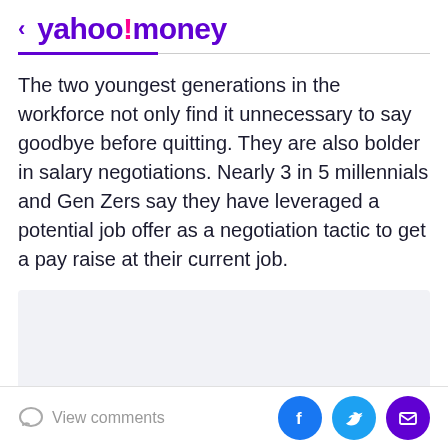< yahoo!money
The two youngest generations in the workforce not only find it unnecessary to say goodbye before quitting. They are also bolder in salary negotiations. Nearly 3 in 5 millennials and Gen Zers say they have leveraged a potential job offer as a negotiation tactic to get a pay raise at their current job.
[Figure (other): Advertisement or embedded content placeholder area with light gray background]
View comments | Share on Facebook, Twitter, Email